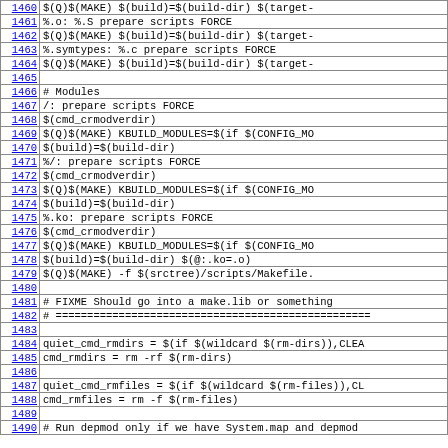Makefile code lines 1460-1490, showing build rules for .o, .symtypes, .ko targets and module build rules, plus FIXME comment and quiet_cmd_rmdirs/rmfiles variable definitions.